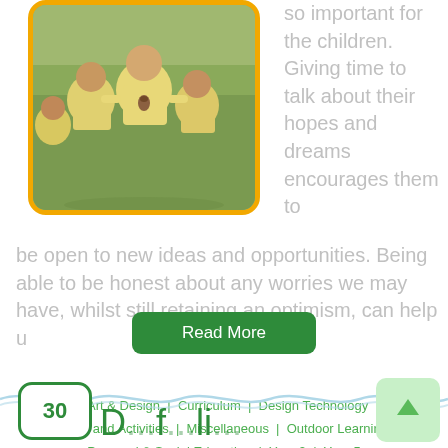[Figure (photo): Children in yellow school uniforms outdoors on grass, framed with orange/yellow rounded border]
so important for the children. Giving time to talk about their hopes and dreams encourages them to be open to new ideas and opportunities. Being able to be honest about any worries we may have, whilst still retaining an optimism, can help u
Art & Design | Curriculum | Design Technology | Events and Activities | Miscellaneous | Outdoor Learning | Personal & Social Education | Year 2 | Year 5
Read More
[Figure (illustration): Wavy blue decorative divider line]
[Figure (illustration): Scroll to top button - light green rounded square with upward arrow]
30
D...f...li...